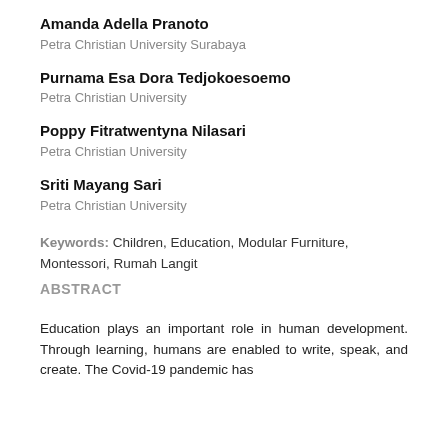Amanda Adella Pranoto
Petra Christian University Surabaya
Purnama Esa Dora Tedjokoesoemo
Petra Christian University
Poppy Fitratwentyna Nilasari
Petra Christian University
Sriti Mayang Sari
Petra Christian University
Keywords: Children, Education, Modular Furniture, Montessori, Rumah Langit
ABSTRACT
Education plays an important role in human development. Through learning, humans are enabled to write, speak, and create. The Covid-19 pandemic has